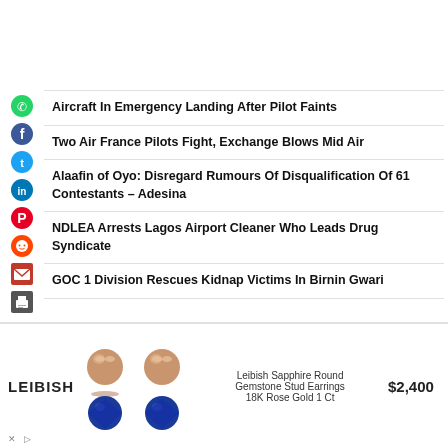Aircraft In Emergency Landing After Pilot Faints
Two Air France Pilots Fight, Exchange Blows Mid Air
Alaafin of Oyo: Disregard Rumours Of Disqualification Of 61 Contestants – Adesina
NDLEA Arrests Lagos Airport Cleaner Who Leads Drug Syndicate
GOC 1 Division Rescues Kidnap Victims In Birnin Gwari
[Figure (infographic): Advertisement for Leibish Sapphire Round Gemstone Stud Earrings 18K Rose Gold 1 Ct priced at $2,400. Shows the LEIBISH logo, two gold stud earrings with blue sapphires, product description, and price.]